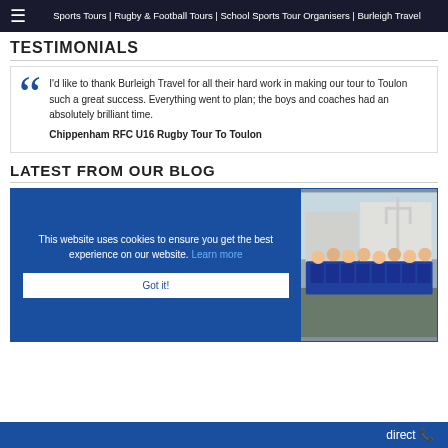Sports Tours | Rugby & Football Tours | School Sports Tour Organisers | Burleigh Travel
TESTIMONIALS
I'd like to thank Burleigh Travel for all their hard work in making our tour to Toulon such a great success. Everything went to plan; the boys and coaches had an absolutely brilliant time. Chippenham RFC U16 Rugby Tour To Toulon
LATEST FROM OUR BLOG
This website uses cookies to ensure you get the best experience on our website. Learn more Got it!
[Figure (photo): Group photo of rugby team in blue shirts outdoors near rugby posts]
direct